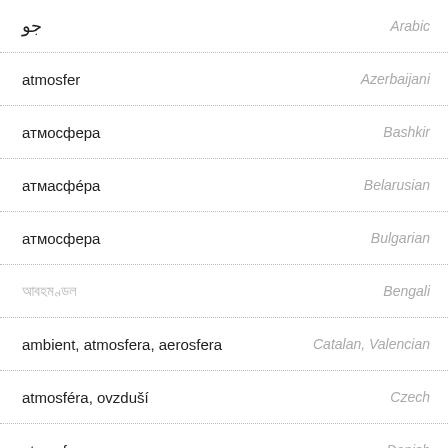جو — Arabic
atmosfer — Azerbaijani
атмосфера — Bashkir
атмасфéра — Belarusian
атмосфера — Bulgarian
আবহমণ্ডল — Bengali
ambient, atmosfera, aerosfera — Catalan, Valencian
atmosféra, ovzduší — Czech
atmosfære — Danish
Atmosphäre — German
ατμόσφαιρα — Greek